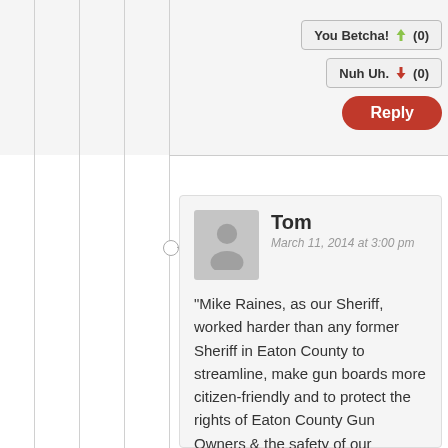[Figure (screenshot): Vote buttons: 'You Betcha! (0)' with green thumbs-up arrow, 'Nuh Uh. (0)' with red thumbs-down arrow, and a red 'Reply' button]
Tom
March 11, 2014 at 3:00 pm
"Mike Raines, as our Sheriff, worked harder than any former Sheriff in Eaton County to streamline, make gun boards more citizen-friendly and to protect the rights of Eaton County Gun Owners & the safety of our families"